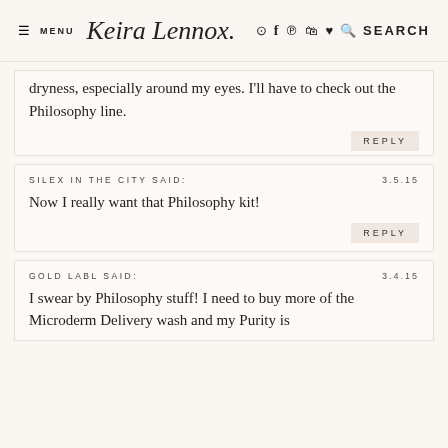≡ MENU Keira Lennox  [icons] SEARCH
dryness, especially around my eyes. I'll have to check out the Philosophy line.
REPLY
SILEX IN THE CITY SAID:  3.5.15
Now I really want that Philosophy kit!
REPLY
GOLD LABL SAID:  3.4.15
I swear by Philosophy stuff! I need to buy more of the Microderm Delivery wash and my Purity is